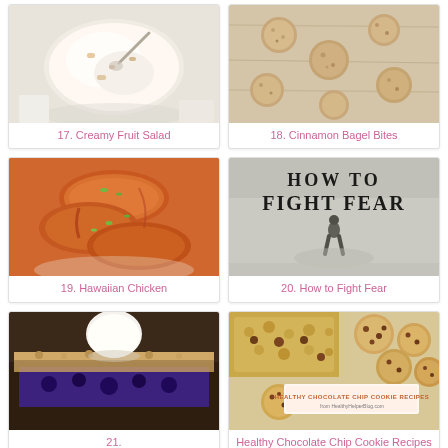[Figure (photo): Creamy fruit salad in a white bowl with spoon]
17. Creamy Fruit Salad
[Figure (photo): Cinnamon bagel bites on a wooden surface]
18. Cinnamon Bagel Bites
[Figure (photo): Hawaiian chicken with orange-red sauce and green onions]
19. Hawaiian Chicken
[Figure (photo): Book cover: How to Fight Fear with silhouette figure]
20. How to Fight Fear
[Figure (photo): Dark berry crumble slice with a scoop of vanilla ice cream]
21.
[Figure (photo): Healthy chocolate chip cookie recipes collage with cookies and granola bars, HealthyHelperBlog.com]
Healthy Chocolate Chip Cookie Recipes from HealthyHelperBlog.com